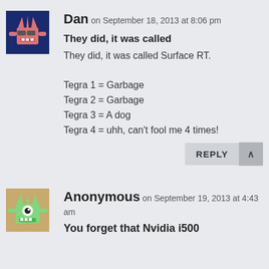[Figure (illustration): Avatar image: pixel art monster with sunglasses on dark blue background]
Dan on September 18, 2013 at 8:06 pm
They did, it was called
They did, it was called Surface RT.

Tegra 1 = Garbage
Tegra 2 = Garbage
Tegra 3 = A dog
Tegra 4 = uhh, can't fool me 4 times!
[Figure (illustration): Avatar image: pixel art green monster with one eye on tan background]
Anonymous on September 19, 2013 at 4:43 am
You forget that Nvidia i500